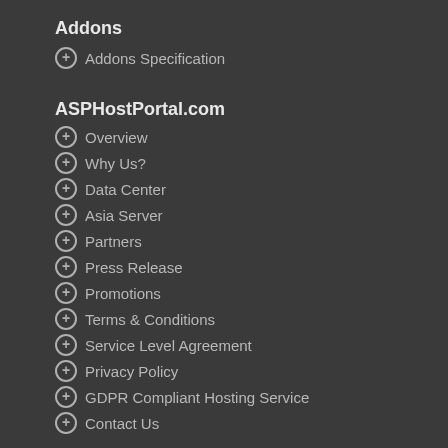Addons
Addons Specification
ASPHostPortal.com
Overview
Why Us?
Data Center
Asia Server
Partners
Press Release
Promotions
Terms & Conditions
Service Level Agreement
Privacy Policy
GDPR Compliant Hosting Service
Contact Us
Windows SharePoint 2010 Hosting
SharePoint 2010 Hosting Level 1
SharePoint 2010 Hosting Level 2